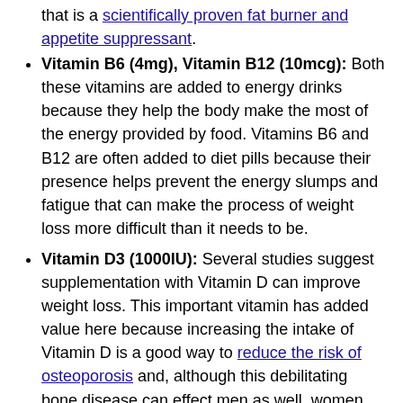that is a scientifically proven fat burner and appetite suppressant.
Vitamin B6 (4mg), Vitamin B12 (10mcg): Both these vitamins are added to energy drinks because they help the body make the most of the energy provided by food. Vitamins B6 and B12 are often added to diet pills because their presence helps prevent the energy slumps and fatigue that can make the process of weight loss more difficult than it needs to be.
Vitamin D3 (1000IU): Several studies suggest supplementation with Vitamin D can improve weight loss. This important vitamin has added value here because increasing the intake of Vitamin D is a good way to reduce the risk of osteoporosis and, although this debilitating bone disease can effect men as well, women have a greater susceptibility.